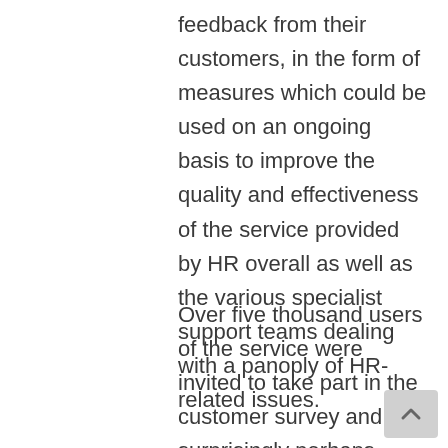feedback from their customers, in the form of measures which could be used on an ongoing basis to improve the quality and effectiveness of the service provided by HR overall as well as the various specialist support teams dealing with a panoply of HR-related issues.
Over five thousand users of the service were invited to take part in the customer survey and, surprisingly perhaps, given the recency of all the changes, almost half responded. We collected very detailed feedback about many different aspects of the service